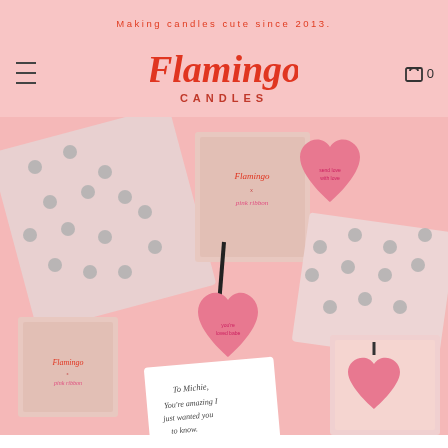Making candles cute since 2013.
[Figure (logo): Flamingo Candles logo in cursive script with CANDLES subtitle]
[Figure (photo): Flat lay product photo showing pink Flamingo Candles products: heart-shaped air fresheners, polka-dot wrapping paper with silver dots, pink gift boxes with Flamingo branding, and a handwritten note reading 'To Michie, You're amazing I just wanted you to know. Sending love xxx from Sophie']